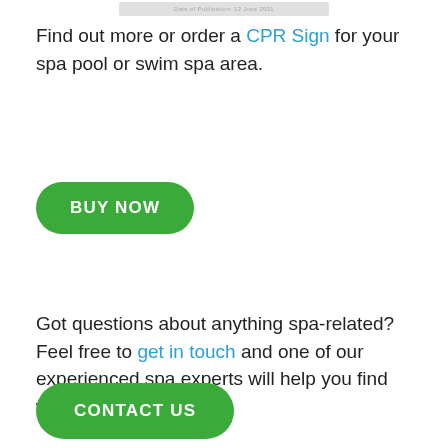[Figure (other): Partial screenshot or image at the top of the page, showing a small label or stamp graphic]
Find out more or order a CPR Sign for your spa pool or swim spa area.
[Figure (other): Green rounded button labeled 'BUY NOW']
Got questions about anything spa-related? Feel free to get in touch and one of our experienced spa experts will help you find what you need.
[Figure (other): Green rounded button labeled 'CONTACT US']